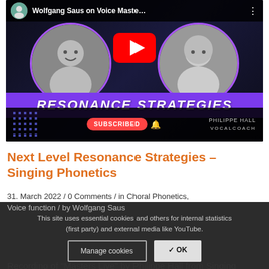[Figure (screenshot): YouTube video thumbnail showing 'Wolfgang Saus on Voice Maste...' with two circular portrait photos (left: smiling man, right: bald man), a YouTube play button in center, purple 'RESONANCE STRATEGIES' banner, SUBSCRIBED button, and 'PHILIPPE HALL VOCALCOACH' label. Bottom portion has dot grid decoration.]
Next Level Resonance Strategies – Singing Phonetics
31. March 2022 / 0 Comments / in Choral Phonetics, Voice function / by Wolfgang Saus
This site uses essential cookies and others for internal statistics (first party) and external media like YouTube.
Recording of "Masters Live" by Philippe Hall from Singing Revealed on March